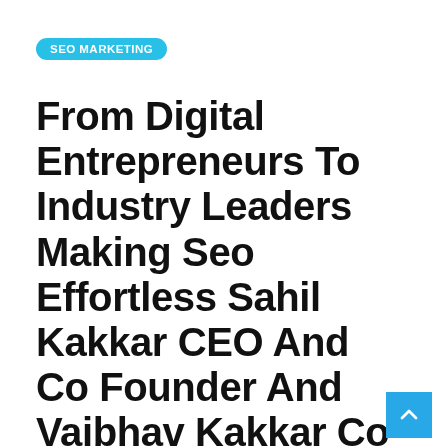SEO MARKETING
From Digital Entrepreneurs To Industry Leaders Making Seo Effortless Sahil Kakkar CEO And Co Founder And Vaibhav Kakkar Co Founder From WEBIO